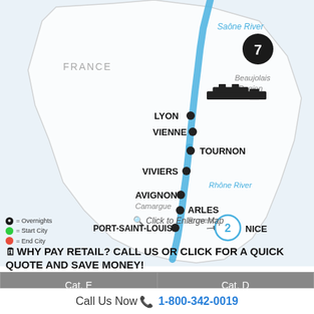[Figure (map): River cruise route map through France showing the Saône River and Rhône River with stops at Lyon, Vienne, Tournon, Viviers, Avignon, Arles (Provence), Port-Saint-Louis, and Nice. Two numbered circles: 7 near top with cruise ship icon, 2 near bottom. Beaujolais Region and Camargue labeled. FRANCE labeled on left.]
= Overnights
= Start City
= End City
Click to Enlarge Map
WHY PAY RETAIL? CALL US OR CLICK FOR A QUICK QUOTE AND SAVE MONEY!
| Cat. E | Cat. D |
| --- | --- |
| $4557 | $4756 |
Call Us Now 1-800-342-0019